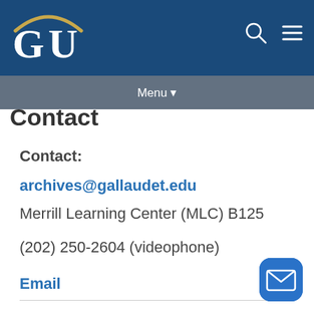GU [Gallaudet University header with search and menu icons]
Menu ▾
Contact
Contact:
archives@gallaudet.edu
Merrill Learning Center (MLC) B125
(202) 250-2604 (videophone)
Email